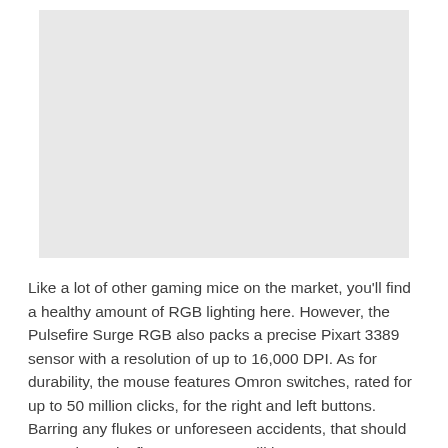[Figure (photo): Gray placeholder image area representing a product photo of the HyperX Pulsefire Surge RGB gaming mouse]
Like a lot of other gaming mice on the market, you'll find a healthy amount of RGB lighting here. However, the Pulsefire Surge RGB also packs a precise Pixart 3389 sensor with a resolution of up to 16,000 DPI. As for durability, the mouse features Omron switches, rated for up to 50 million clicks, for the right and left buttons. Barring any flukes or unforeseen accidents, that should mean the Pulsefire Surge RGB will last a